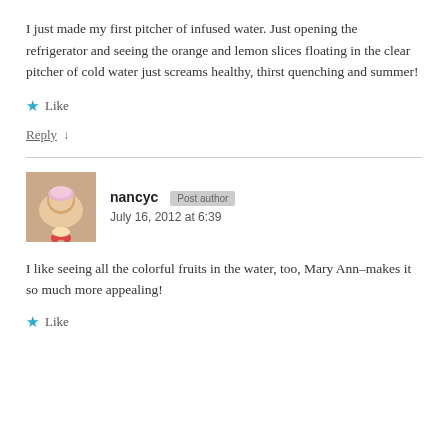I just made my first pitcher of infused water. Just opening the refrigerator and seeing the orange and lemon slices floating in the clear pitcher of cold water just screams healthy, thirst quenching and summer!
★ Like
Reply ↓
nancyc  Post author
July 16, 2012 at 6:39
I like seeing all the colorful fruits in the water, too, Mary Ann–makes it so much more appealing!
★ Like